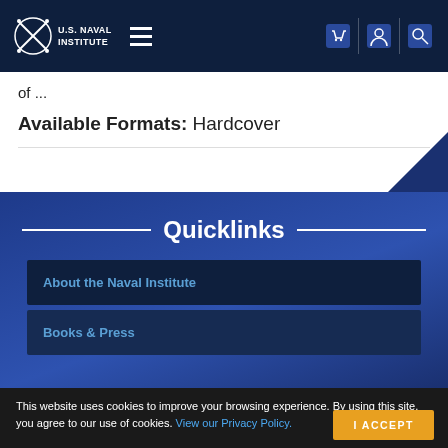U.S. Naval Institute
of ...
Available Formats: Hardcover
Quicklinks
About the Naval Institute
Books & Press
This website uses cookies to improve your browsing experience. By using this site, you agree to our use of cookies. View our Privacy Policy.